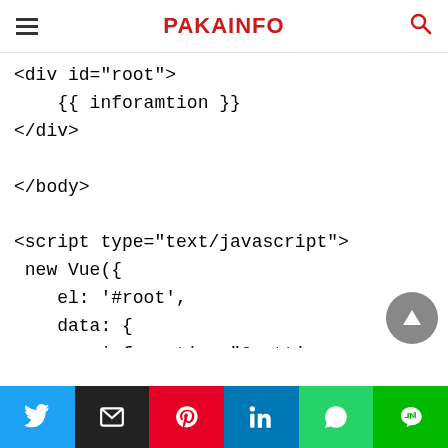PAKAINFO
<div id="root">
    {{ inforamtion }}
</div>

</body>

<script type="text/javascript">
 new Vue({
    el: '#root',
    data: {
        inforamtion:"Gretting, Please Wait...."
    }